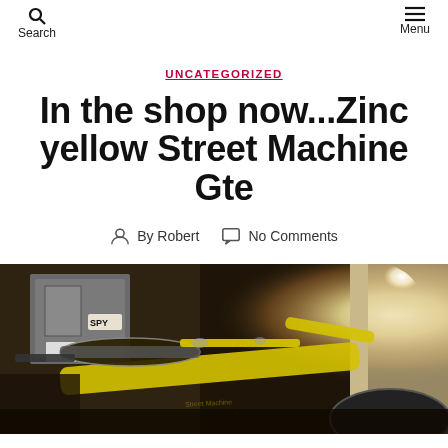Search | Menu
UNCATEGORIZED
In the shop now...Zinc yellow Street Machine Gte
By Robert   No Comments
[Figure (photo): A zinc yellow Street Machine Gte bicycle in a workshop/garage setting, with handlebars and frame visible. A bright light source is visible in the background on the right side. Various equipment and a cabinet with a SPY sticker are visible in the background.]